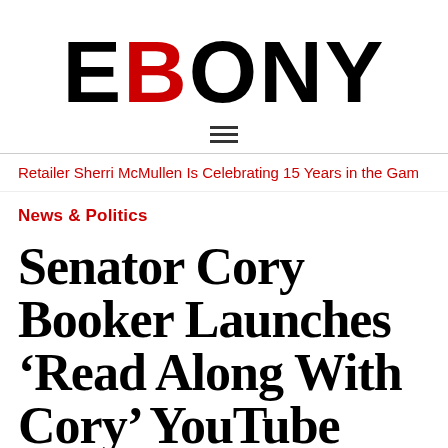EBONY
Retailer Sherri McMullen Is Celebrating 15 Years in the Gam
News & Politics
Senator Cory Booker Launches ‘Read Along With Cory’ YouTube